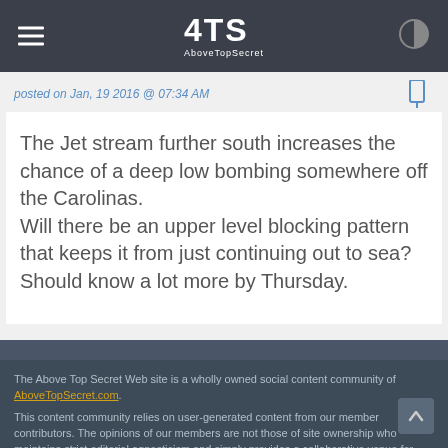4TS AboveTopSecret
posted on Jan, 19 2016 @ 07:34 AM
The Jet stream further south increases the chance of a deep low bombing somewhere off the Carolinas.
Will there be an upper level blocking pattern that keeps it from just continuing out to sea?
Should know a lot more by Thursday.
<< 1 2 >>
The Above Top Secret Web site is a wholly owned social content community of AboveTopSecret.com.
This content community relies on user-generated content from our member contributors. The opinions of our members are not those of site ownership who maintains strict editorial agnosticism and simply provides a collaborative venue for